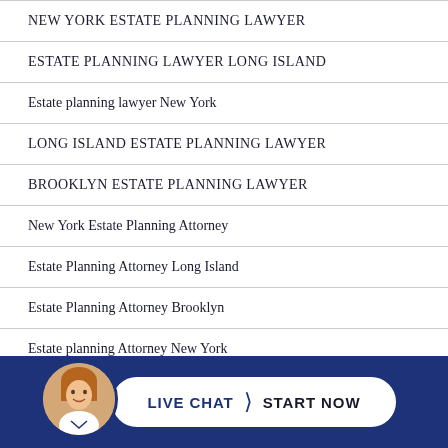NEW YORK ESTATE PLANNING LAWYER
ESTATE PLANNING LAWYER LONG ISLAND
Estate planning lawyer New York
LONG ISLAND ESTATE PLANNING LAWYER
BROOKLYN ESTATE PLANNING LAWYER
New York Estate Planning Attorney
Estate Planning Attorney Long Island
Estate Planning Attorney Brooklyn
Estate planning Attorney New York
Estate planning Lawyer Long Island
[Figure (infographic): Live chat widget at the bottom of the page with a blue background, a circular avatar photo of a woman, and a white pill-shaped button reading 'LIVE CHAT > START NOW']